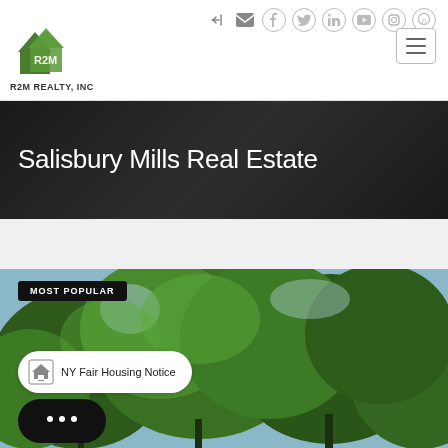[Figure (logo): R2M Realty Inc logo - green house icon with R2M text]
[Figure (infographic): Social media icons row: login, email, facebook, twitter, linkedin, youtube, instagram, pinterest]
[Figure (other): Hamburger menu button with three horizontal lines]
Salisbury Mills Real Estate
[Figure (photo): Aerial tree canopy photo with green leafy trees against light sky]
MOST POPULAR
NY Fair Housing Notice
[Figure (other): Chat bubble button with three dots indicating a message]